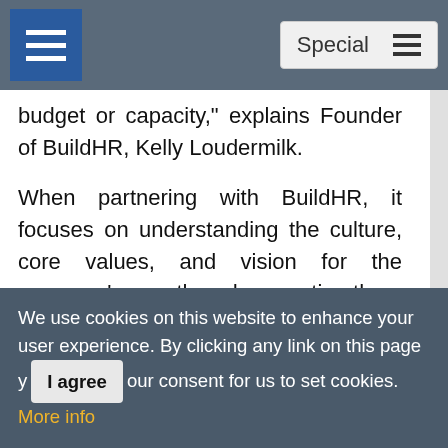Special
budget or capacity," explains Founder of BuildHR, Kelly Loudermilk.
When partnering with BuildHR, it focuses on understanding the culture, core values, and vision for the company's growth and supporting them by lending an expert hand in all aspects of human resources cost-effectively. "We provide resources to create work conditions with a more humane approach versus just the back-and-forth administrative paper pushing of other companies," states Kelly.The company offers various products and services, from simple templates
We use cookies on this website to enhance your user experience. By clicking any link on this page you give your consent for us to set cookies. More info